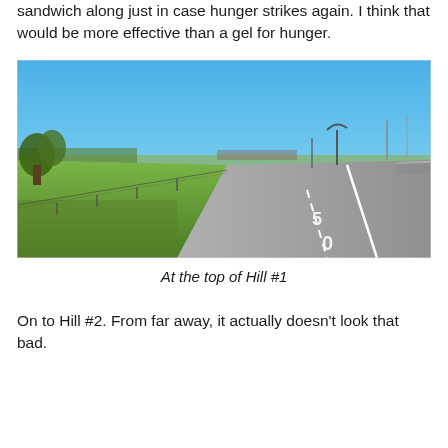sandwich along just in case hunger strikes again. I think that would be more effective than a gel for hunger.
[Figure (photo): Outdoor photo taken from an elevated grassy hillside overlooking a multi-lane highway. The left side shows green grass sloping down, with trees. The road curves away into the distance under a bright blue sky. Street lights and utility poles are visible in the background along the highway.]
At the top of Hill #1
On to Hill #2. From far away, it actually doesn't look that bad.